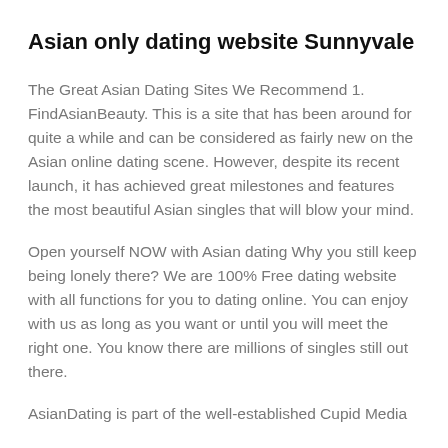Asian only dating website Sunnyvale
The Great Asian Dating Sites We Recommend 1. FindAsianBeauty. This is a site that has been around for quite a while and can be considered as fairly new on the Asian online dating scene. However, despite its recent launch, it has achieved great milestones and features the most beautiful Asian singles that will blow your mind.
Open yourself NOW with Asian dating Why you still keep being lonely there? We are 100% Free dating website with all functions for you to dating online. You can enjoy with us as long as you want or until you will meet the right one. You know there are millions of singles still out there.
AsianDating is part of the well-established Cupid Media